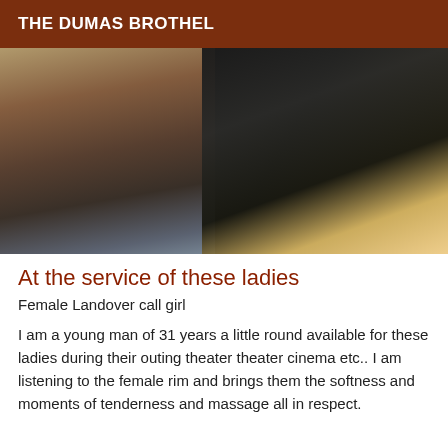THE DUMAS BROTHEL
[Figure (photo): A photograph showing two scenes: on the left, a rotated/tilted view of dishes and objects on a table; on the right, a person in dark clothing outdoors at night with a bright light source in the background.]
At the service of these ladies
Female Landover call girl
I am a young man of 31 years a little round available for these ladies during their outing theater theater cinema etc.. I am listening to the female rim and brings them the softness and moments of tenderness and massage all in respect.